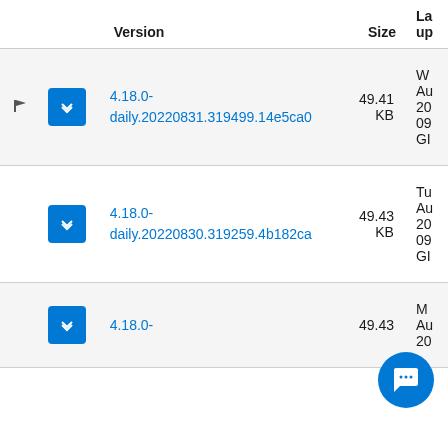|  |  | Version | Size | La
up |
| --- | --- | --- | --- | --- |
| (flag) | (icon) | 4.18.0-daily.20220831.319499.14e5ca0 | 49.41 KB | W
Au
20
09
GI |
|  | (icon) | 4.18.0-daily.20220830.319259.4b182ca | 49.43 KB | Tu
Au
20
09
GI |
|  | (icon) | 4.18.0- | 49.43 | M
Au
20 |